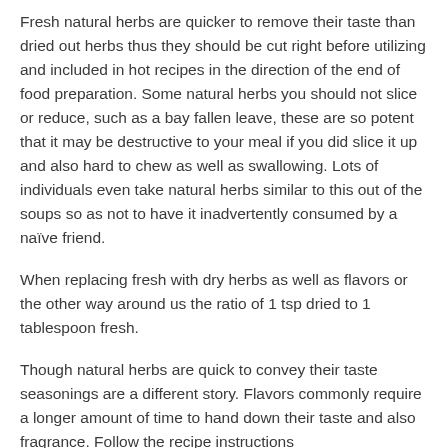Fresh natural herbs are quicker to remove their taste than dried out herbs thus they should be cut right before utilizing and included in hot recipes in the direction of the end of food preparation. Some natural herbs you should not slice or reduce, such as a bay fallen leave, these are so potent that it may be destructive to your meal if you did slice it up and also hard to chew as well as swallowing. Lots of individuals even take natural herbs similar to this out of the soups so as not to have it inadvertently consumed by a naïve friend.
When replacing fresh with dry herbs as well as flavors or the other way around us the ratio of 1 tsp dried to 1 tablespoon fresh.
Though natural herbs are quick to convey their taste seasonings are a different story. Flavors commonly require a longer amount of time to hand down their taste and also fragrance. Follow the recipe instructions